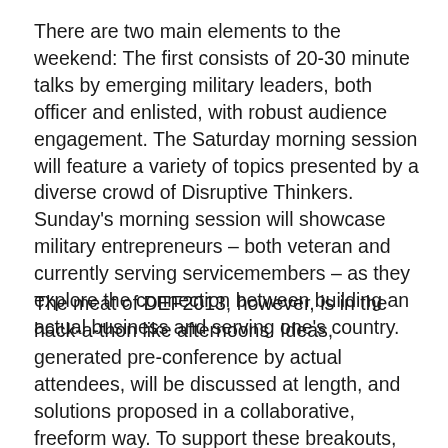There are two main elements to the weekend:  The first consists of 20-30 minute talks by emerging military leaders, both officer and enlisted, with robust audience engagement.  The Saturday morning session will feature a variety of topics presented by a diverse crowd of Disruptive Thinkers.   Sunday's morning session will showcase military entrepreneurs – both veteran and currently serving servicemembers – as they explore the connection between building an actual business and serving one's country.
The meat of DEF2013, however, is in the hack-a-thon like afternoons.  Ideas, generated pre-conference by actual attendees, will be discussed at length, and solutions proposed in a collaborative, freeform way.  To support these breakouts, professors from the University of Chicago's Booth School of Business will give two roundtables on marketing and sales, as well as be placed as mentors within the ideation groups.  At the end of the weekend, each of the self-assembled teams will have come up with a comprehensive, relevant solution to